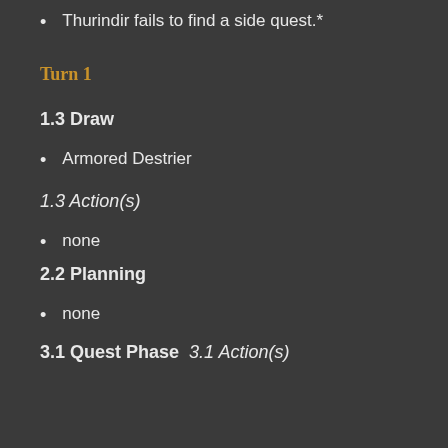Thurindir fails to find a side quest.*
Turn 1
1.3 Draw
Armored Destrier
1.3 Action(s)
none
2.2 Planning
none
3.1 Quest Phase 3.1 Action(s)